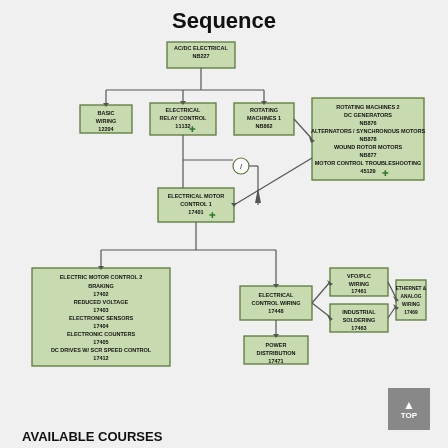Sequence
[Figure (flowchart): Course sequence flowchart showing prerequisite relationships between electrical/industrial courses. Top node: AC/DC ELECTRICAL NB227, branching to BASIC WIRING 12204, ELECTRICAL RELAY CONTROL 11132, ROTATING MACHINES 1 NB862. Further branches lead to ELECTRICAL MOTOR CONTROL 1 17401, ROTATING MACHINES 2 (DC GENERATORS NB876, ALTERNATORS/SYNCHRONOUS MOTORS NB878, WOUND ROTOR MOTORS NB877, MOTOR CONTROL TROUBLESHOOTING 45129). Bottom branches: ELECTRIC MOTOR CONTROL 2 BRAKING 17402, REDUCED VOLTAGE 17403, ELECTRONIC SENSORS 17404, ELECTRONIC COUNTERS 17405, DC DRIVES W/SCR SPEED CONTROL 17412; ELECTRICAL CONTROL WIRING 17448; VFO/PLC WIRING 17461; INDUSTRIAL SOLDERING 17463; ETHERNET & ANALOG WIRING 17469; POWER DISTRIBUTION 17471.]
AVAILABLE COURSES